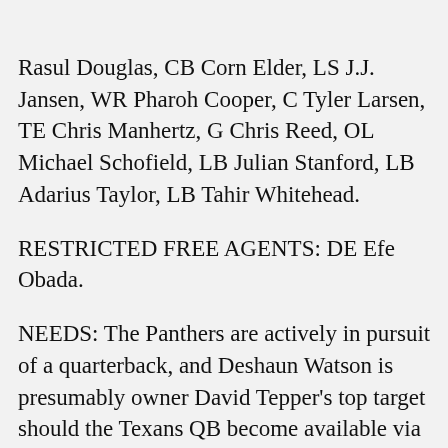Rasul Douglas, CB Corn Elder, LS J.J. Jansen, WR Pharoh Cooper, C Tyler Larsen, TE Chris Manhertz, G Chris Reed, OL Michael Schofield, LB Julian Stanford, LB Adarius Taylor, LB Tahir Whitehead.
RESTRICTED FREE AGENTS: DE Efe Obada.
NEEDS: The Panthers are actively in pursuit of a quarterback, and Deshaun Watson is presumably owner David Tepper's top target should the Texans QB become available via trade. Much of what Carolina does in free agency will depend on how the Watson storyline plays out, as the Panthers would need to send multiple draft picks and existing players in return to land that type of franchise QB. Carolina has the No. 8 pick in the draft, so QB is